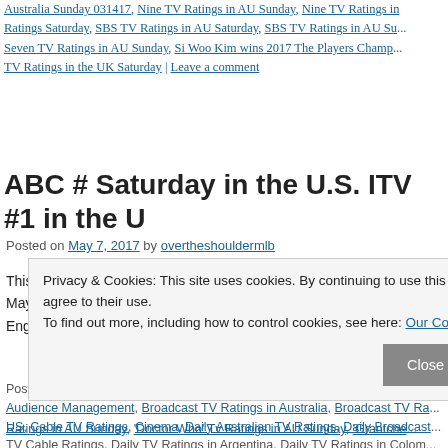Australia Sunday 031417, Nine TV Ratings in AU Sunday, Nine TV Ratings in Ratings Saturday, SBS TV Ratings in AU Saturday, SBS TV Ratings in AU Su... Seven TV Ratings in AU Sunday, Si Woo Kim wins 2017 The Players Champ... TV Ratings in the UK Saturday | Leave a comment
ABC # Saturday in the U.S. ITV #1 in the U
Posted on May 7, 2017 by overtheshouldermlb
This was the Tenth Day of the May Sweeps rating period. May ... May 24, 2017. Basketball, variety and drama dominated the top... English Language World on Saturday in prime … Continue read
Posted in #dailydiaryofscreens., 75 Years Ago Today In Communications, Au... Audience Management, Broadcast TV Ratings in Australia, Broadcast TV Ra... US, Cable TV Ratings, Cinema, Daily Australian TV Ratings, Daily Broadcast... TV Cable Ratings, Daily TV Ratings in Argentina, Daily TV Ratings in Colom...
Privacy & Cookies: This site uses cookies. By continuing to use this website, you agree to their use.
To find out more, including how to control cookies, see here: Our Cookie Policy
Close and accept
Ratings in AU Sunday, 'Doctor Who' Tv Ratings in AU Sunday, 'Grantche...